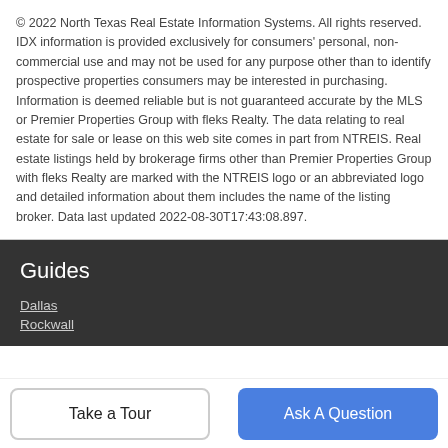© 2022 North Texas Real Estate Information Systems. All rights reserved. IDX information is provided exclusively for consumers' personal, non-commercial use and may not be used for any purpose other than to identify prospective properties consumers may be interested in purchasing. Information is deemed reliable but is not guaranteed accurate by the MLS or Premier Properties Group with fleks Realty. The data relating to real estate for sale or lease on this web site comes in part from NTREIS. Real estate listings held by brokerage firms other than Premier Properties Group with fleks Realty are marked with the NTREIS logo or an abbreviated logo and detailed information about them includes the name of the listing broker. Data last updated 2022-08-30T17:43:08.897.
Guides
Dallas
Rockwall